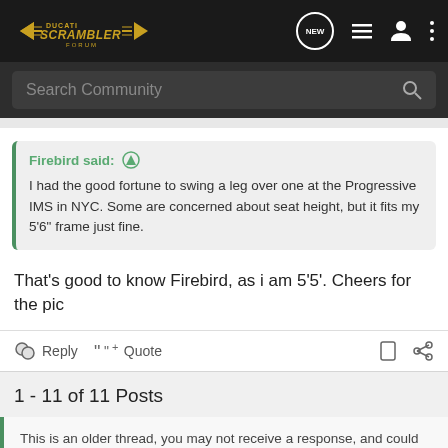[Figure (logo): Ducati Scrambler Forum logo in gold/yellow on dark nav bar]
Search Community
Firebird said: ↑
I had the good fortune to swing a leg over one at the Progressive IMS in NYC. Some are concerned about seat height, but it fits my 5'6" frame just fine.
That's good to know Firebird, as i am 5'5'. Cheers for the pic
Reply  Quote
1 - 11 of 11 Posts
This is an older thread, you may not receive a response, and could be reviving an old thread. Please consider creating a new thread.